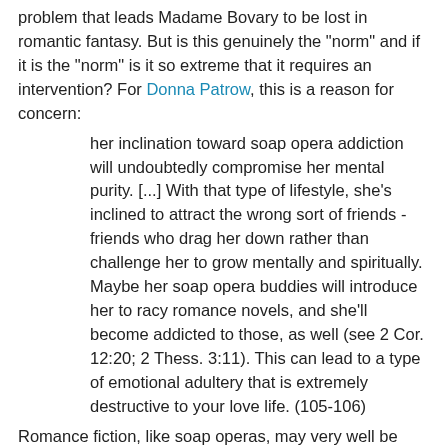problem that leads Madame Bovary to be lost in romantic fantasy. But is this genuinely the "norm" and if it is the "norm" is it so extreme that it requires an intervention? For Donna Patrow, this is a reason for concern:
her inclination toward soap opera addiction will undoubtedly compromise her mental purity. [...] With that type of lifestyle, she's inclined to attract the wrong sort of friends - friends who drag her down rather than challenge her to grow mentally and spiritually. Maybe her soap opera buddies will introduce her to racy romance novels, and she'll become addicted to those, as well (see 2 Cor. 12:20; 2 Thess. 3:11). This can lead to a type of emotional adultery that is extremely destructive to your love life. (105-106)
Romance fiction, like soap operas, may very well be dangerous but this presumes that all readers of romance fiction will become "addicted" to a point where the addiction is debilitating and interferes with daily life to such a degree that some radical change is needed. Such a perspective is, to my mind, the most dystopian reading of romantic fiction (at least on the critic's part). Surely, there is a way in which the critic can imagine a more utopian outcome for romantic